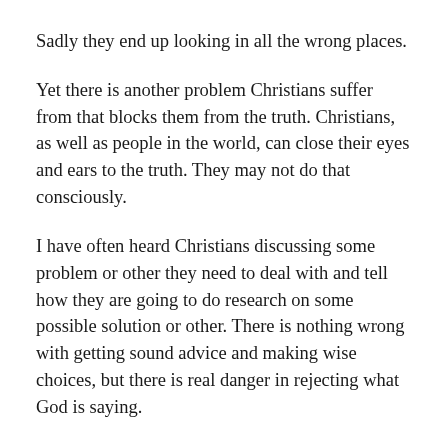Sadly they end up looking in all the wrong places.
Yet there is another problem Christians suffer from that blocks them from the truth. Christians, as well as people in the world, can close their eyes and ears to the truth. They may not do that consciously.
I have often heard Christians discussing some problem or other they need to deal with and tell how they are going to do research on some possible solution or other. There is nothing wrong with getting sound advice and making wise choices, but there is real danger in rejecting what God is saying.
My wife and I have assisted families who have ignored the things we shared with them. They seem to have the notion that there may be a better or